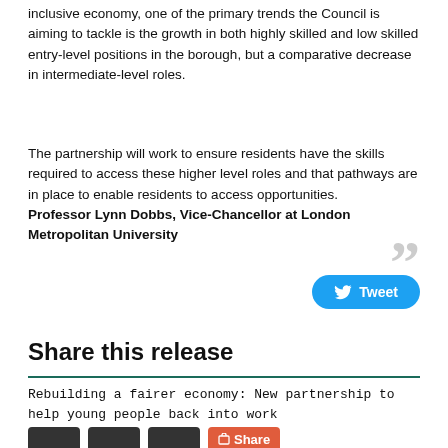inclusive economy, one of the primary trends the Council is aiming to tackle is the growth in both highly skilled and low skilled entry-level positions in the borough, but a comparative decrease in intermediate-level roles.
The partnership will work to ensure residents have the skills required to access these higher level roles and that pathways are in place to enable residents to access opportunities.
Professor Lynn Dobbs, Vice-Chancellor at London Metropolitan University
Share this release
Rebuilding a fairer economy: New partnership to help young people back into work